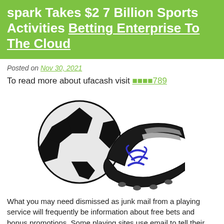spark Takes $2 7 Billion Sports Activities Betting Enterprise To The Cloud
Posted on Nov 30, 2021
To read more about ufacash visit ufacash789
[Figure (illustration): Illustration of a soccer ball and a black soccer cleat/boot with blue laces]
What you may need dismissed as junk mail from a playing service will frequently be information about free bets and bonus promotions. Some playing sites use email to tell their customers...